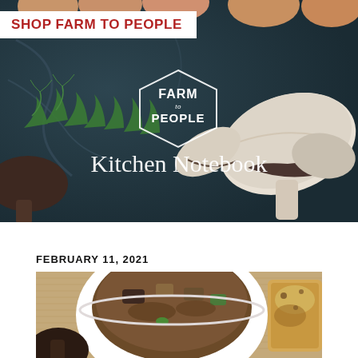[Figure (photo): Hero image: dark slate/marble surface with mushrooms, fresh dill/herbs, eggs at top. Farm to People hexagon logo centered. 'Kitchen Notebook' text overlay in white serif font. Red and white 'SHOP FARM TO PEOPLE' banner in top left.]
SHOP FARM TO PEOPLE
Kitchen Notebook
FEBRUARY 11, 2021
[Figure (photo): Food photo: white bowl of hearty stew/soup with mushrooms and vegetables on burlap background, with a piece of bread/pastry visible on the right side. Dark mushroom visible lower left.]